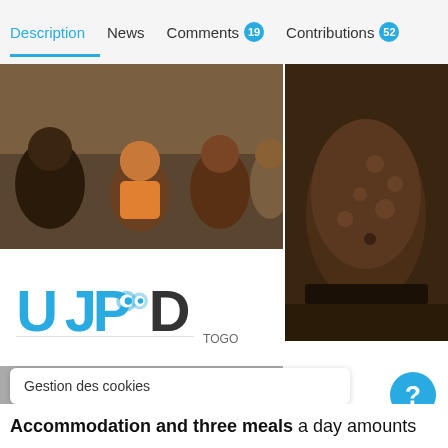Description  News  Comments 19  Contributions 52
[Figure (photo): Collage of photos showing African children and a child with medical condition (distended belly), along with UJPOD Togo organization logo]
Gestion des cookies
Accommodation and three meals a day amounts